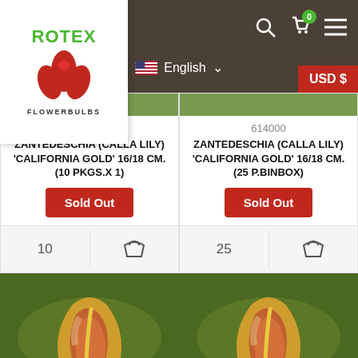ROTEX FLOWERBULBS — English — USD $
677310
ZANTEDESCHIA (CALLA LILY) 'CALIFORNIA GOLD' 16/18 CM. (10 PKGS.X 1)
Sold Out
10
614000
ZANTEDESCHIA (CALLA LILY) 'CALIFORNIA GOLD' 16/18 CM. (25 P.BINBOX)
Sold Out
25
[Figure (photo): Zantedeschia California Gold calla lily flower — yellow-orange petals with green foliage background]
[Figure (photo): Zantedeschia California Gold calla lily flower — yellow-orange petals with green foliage background]